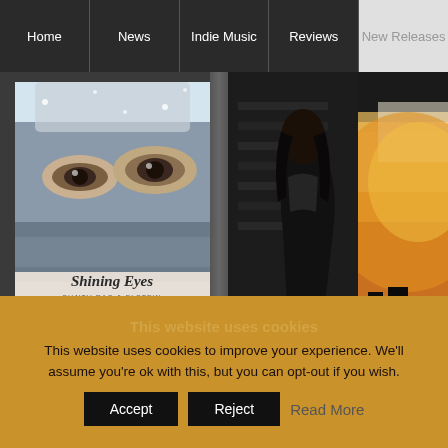Home | News | Indie Music | Reviews | New Releases
[Figure (illustration): Magazine cover for 'Shining Eyes' by Sujith Rao & Elstein with a MagCloud promotional band, showing close-up of a woman's eyes in winter setting]
Jamsphere Magazine JULY 2022 - FEATURED ARTISTS - Sujith Rao and
[Figure (photo): Dark background photo of a person in silhouette against an orange/yellow sunset sky with urban/industrial elements]
This website uses cookies
This website uses cookies to improve your experience. We'll assume you're ok with this, but you can opt-out if you wish.
Accept | Reject | Read More